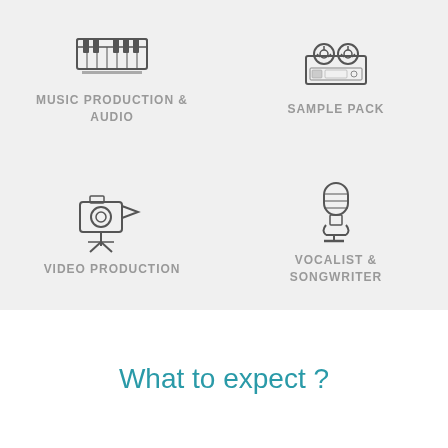[Figure (illustration): Keyboard/synthesizer icon representing Music Production & Audio]
MUSIC PRODUCTION & AUDIO
[Figure (illustration): Reel-to-reel tape recorder icon representing Sample Pack]
SAMPLE PACK
[Figure (illustration): Film camera icon representing Video Production]
VIDEO PRODUCTION
[Figure (illustration): Microphone icon representing Vocalist & Songwriter]
VOCALIST & SONGWRITER
What to expect ?